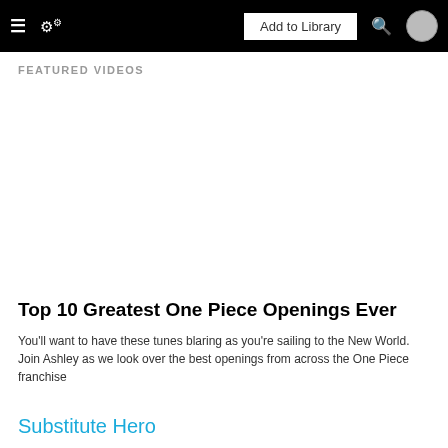≡  ⚙  Add to Library  🔍  [avatar]
FEATURED VIDEOS
[Figure (other): Blank white video placeholder area]
Top 10 Greatest One Piece Openings Ever
You'll want to have these tunes blaring as you're sailing to the New World. Join Ashley as we look over the best openings from across the One Piece franchise
Substitute Hero